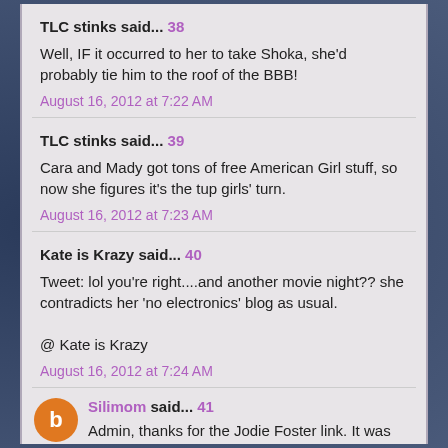TLC stinks said... 38
Well, IF it occurred to her to take Shoka, she'd probably tie him to the roof of the BBB!
August 16, 2012 at 7:22 AM
TLC stinks said... 39
Cara and Mady got tons of free American Girl stuff, so now she figures it's the tup girls' turn.
August 16, 2012 at 7:23 AM
Kate is Krazy said... 40
Tweet: lol you're right....and another movie night?? she contradicts her 'no electronics' blog as usual.

@ Kate is Krazy
August 16, 2012 at 7:24 AM
Silimom said... 41
Admin, thanks for the Jodie Foster link. It was an interesting read.